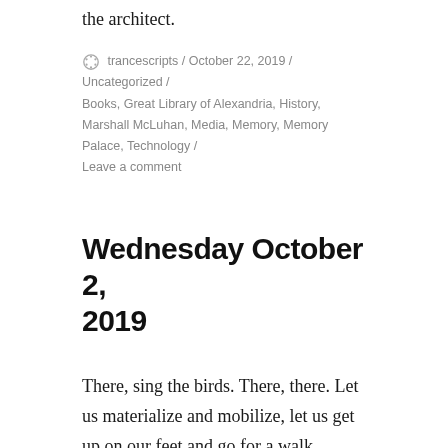the architect.
trancescripts / October 22, 2019 / Uncategorized / Books, Great Library of Alexandria, History, Marshall McLuhan, Media, Memory, Memory Palace, Technology / Leave a comment
Wednesday October 2, 2019
There, sing the birds. There, there. Let us materialize and mobilize, let us get up on our feet and go for a walk. Things click: memory palaces are what we've built for ourselves, only we've externalized them, turned them into digital media devices, software and hardware,